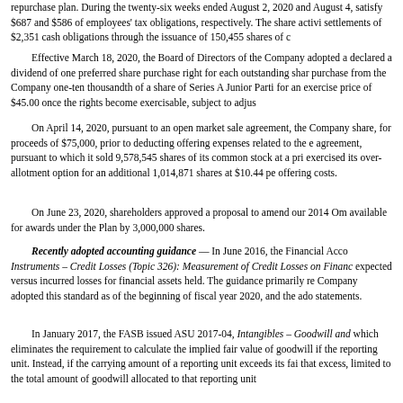repurchase plan. During the twenty-six weeks ended August 2, 2020 and August 4, satisfy $687 and $586 of employees' tax obligations, respectively. The share activi settlements of $2,351 cash obligations through the issuance of 150,455 shares of c
Effective March 18, 2020, the Board of Directors of the Company adopted a declared a dividend of one preferred share purchase right for each outstanding shar purchase from the Company one-ten thousandth of a share of Series A Junior Parti for an exercise price of $45.00 once the rights become exercisable, subject to adjus
On April 14, 2020, pursuant to an open market sale agreement, the Company share, for proceeds of $75,000, prior to deducting offering expenses related to the agreement, pursuant to which it sold 9,578,545 shares of its common stock at a pri exercised its over-allotment option for an additional 1,014,871 shares at $10.44 pe offering costs.
On June 23, 2020, shareholders approved a proposal to amend our 2014 Om available for awards under the Plan by 3,000,000 shares.
Recently adopted accounting guidance — In June 2016, the Financial Acco Instruments – Credit Losses (Topic 326): Measurement of Credit Losses on Financ expected versus incurred losses for financial assets held. The guidance primarily re Company adopted this standard as of the beginning of fiscal year 2020, and the ad statements.
In January 2017, the FASB issued ASU 2017-04, Intangibles – Goodwill an which eliminates the requirement to calculate the implied fair value of goodwill if the reporting unit. Instead, if the carrying amount of a reporting unit exceeds its fa that excess, limited to the total amount of goodwill allocated to that reporting unit